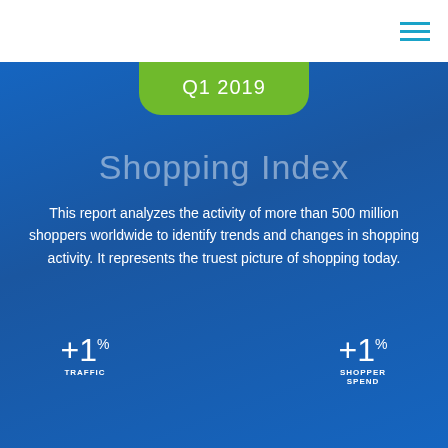Q1 2019
Shopping Index
This report analyzes the activity of more than 500 million shoppers worldwide to identify trends and changes in shopping activity. It represents the truest picture of shopping today.
[Figure (infographic): Three metric indicators: +1% TRAFFIC on the left, +1% DIGITAL COMMERCE in the center circle, +1% SHOPPER SPEND on the right]